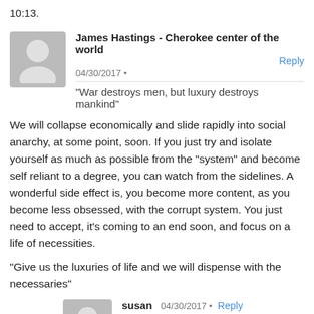10:13.
James Hastings - Cherokee center of the world  Reply  04/30/2017 •
"War destroys men, but luxury destroys mankind"
We will collapse economically and slide rapidly into social anarchy, at some point, soon. If you just try and isolate yourself as much as possible from the “system” and become self reliant to a degree, you can watch from the sidelines. A wonderful side effect is, you become more content, as you become less obsessed, with the corrupt system. You just need to accept, it's coming to an end soon, and focus on a life of necessities.

“Give us the luxuries of life and we will dispense with the necessaries”
susan  04/30/2017 •  Reply
James, your comments were very